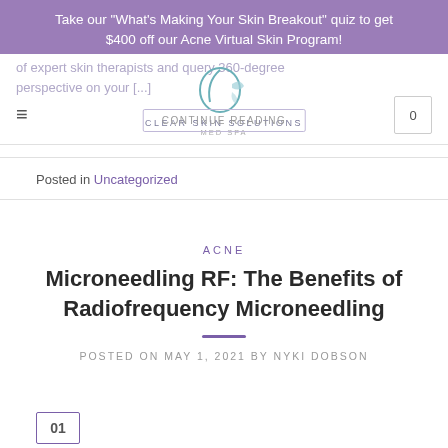Take our "What's Making Your Skin Breakout" quiz to get $400 off our Acne Virtual Skin Program!
[Figure (logo): Clear Skin Solutions Med Spa logo with crescent moon and butterfly icon]
Posted in Uncategorized
ACNE
Microneedling RF: The Benefits of Radiofrequency Microneedling
POSTED ON MAY 1, 2021 BY NYKI DOBSON